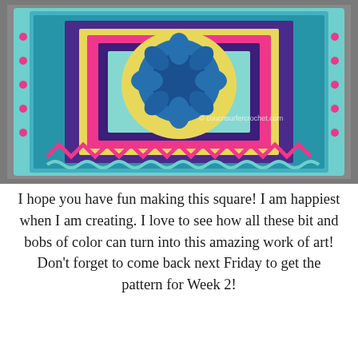[Figure (photo): A colorful crocheted granny square blanket in progress, featuring concentric square borders in teal/mint, pink, purple, yellow, and a central blue flower motif. The square sits on a grey background. A watermark reads '© coucnsurfercrochet.com'.]
I hope you have fun making this square! I am happiest when I am creating. I love to see how all these bit and bobs of color can turn into this amazing work of art! Don't forget to come back next Friday to get the pattern for Week 2!